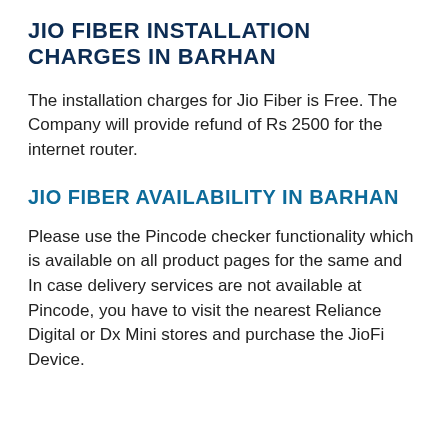JIO FIBER INSTALLATION CHARGES IN BARHAN
The installation charges for Jio Fiber is Free. The Company will provide refund of Rs 2500 for the internet router.
JIO FIBER AVAILABILITY IN BARHAN
Please use the Pincode checker functionality which is available on all product pages for the same and In case delivery services are not available at Pincode, you have to visit the nearest Reliance Digital or Dx Mini stores and purchase the JioFi Device.